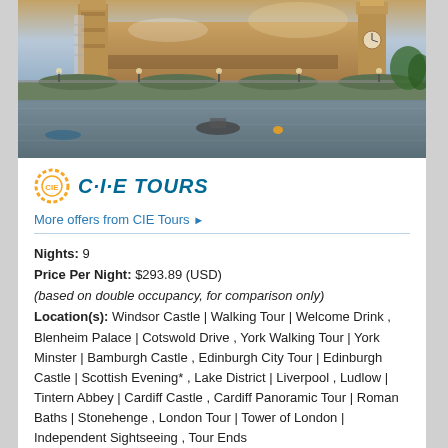[Figure (photo): Photograph of the Houses of Parliament and Westminster Bridge in London, viewed from across the River Thames.]
[Figure (logo): CIE Tours logo — orange dashed circle with CIE text inside, followed by 'C·I·E TOURS' in teal italic bold text.]
More offers from CIE Tours ▶
Nights:   9
Price Per Night:  $293.89 (USD)
(based on double occupancy, for comparison only)
Location(s):   Windsor Castle | Walking Tour | Welcome Drink , Blenheim Palace | Cotswold Drive , York Walking Tour | York Minster | Bamburgh Castle , Edinburgh City Tour | Edinburgh Castle | Scottish Evening* , Lake District | Liverpool , Ludlow | Tintern Abbey | Cardiff Castle , Cardiff Panoramic Tour | Roman Baths | Stonehenge , London Tour | Tower of London | Independent Sightseeing , Tour Ends